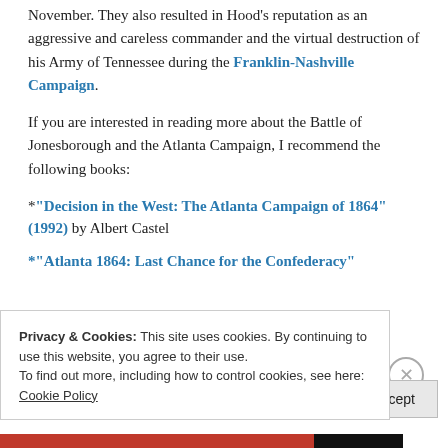November. They also resulted in Hood's reputation as an aggressive and careless commander and the virtual destruction of his Army of Tennessee during the Franklin-Nashville Campaign.
If you are interested in reading more about the Battle of Jonesborough and the Atlanta Campaign, I recommend the following books:
*"Decision in the West: The Atlanta Campaign of 1864" (1992) by Albert Castel
*"Atlanta 1864: Last Chance for the Confederacy"
Privacy & Cookies: This site uses cookies. By continuing to use this website, you agree to their use.
To find out more, including how to control cookies, see here: Cookie Policy